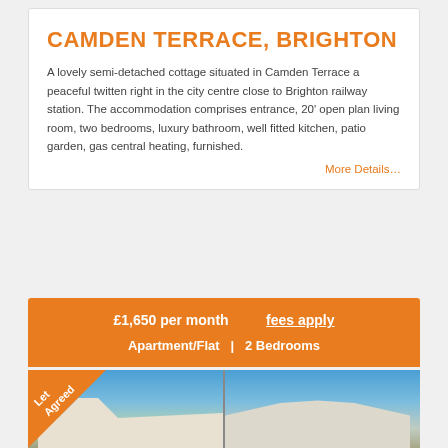CAMDEN TERRACE, BRIGHTON
A lovely semi-detached cottage situated in Camden Terrace a peaceful twitten right in the city centre close to Brighton railway station. The accommodation comprises entrance, 20' open plan living room, two bedrooms, luxury bathroom, well fitted kitchen, patio garden, gas central heating, furnished.
More Details…
£1,650 per month   fees apply
Apartment/Flat  |  2 Bedrooms
[Figure (photo): Two side-by-side photos of a building exterior under a blue sky, with a 'Let Agreed' badge in the bottom-left corner]